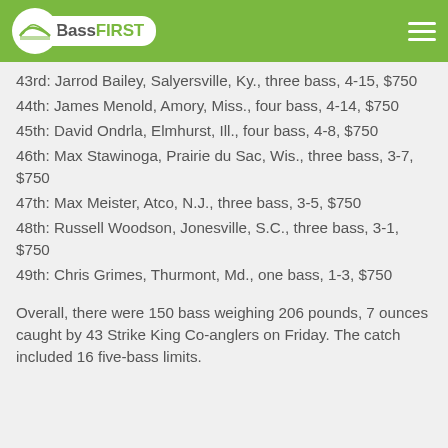BassFIRST
43rd: Jarrod Bailey, Salyersville, Ky., three bass, 4-15, $750
44th: James Menold, Amory, Miss., four bass, 4-14, $750
45th: David Ondrla, Elmhurst, Ill., four bass, 4-8, $750
46th: Max Stawinoga, Prairie du Sac, Wis., three bass, 3-7, $750
47th: Max Meister, Atco, N.J., three bass, 3-5, $750
48th: Russell Woodson, Jonesville, S.C., three bass, 3-1, $750
49th: Chris Grimes, Thurmont, Md., one bass, 1-3, $750
Overall, there were 150 bass weighing 206 pounds, 7 ounces caught by 43 Strike King Co-anglers on Friday. The catch included 16 five-bass limits.